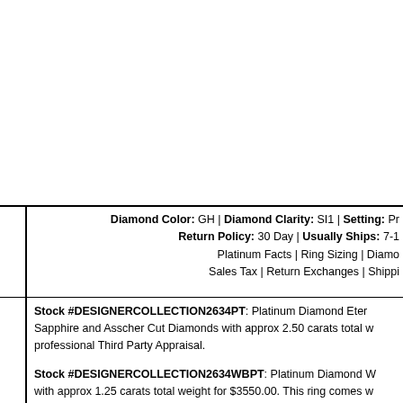[Figure (photo): Top image area showing product photo (partially visible/cropped)]
Diamond Color: GH | Diamond Clarity: SI1 | Setting: Pr... | Return Policy: 30 Day | Usually Ships: 7-1... | Platinum Facts | Ring Sizing | Diamo... | Sales Tax | Return Exchanges | Shippi...
Stock #DESIGNERCOLLECTION2634PT: Platinum Diamond Eter... Sapphire and Asscher Cut Diamonds with approx 2.50 carats total w... professional Third Party Appraisal.
Stock #DESIGNERCOLLECTION2634WBPT: Platinum Diamond W... with approx 1.25 carats total weight for $3550.00. This ring comes w...
Stock #DESIGNERCOLLECTION2634GO: 14K White or Yellow Ge... Round Yellow Sapphire and Asscher Cut Diamonds with approx 2.5... comes with a professional Third Party Appraisal.